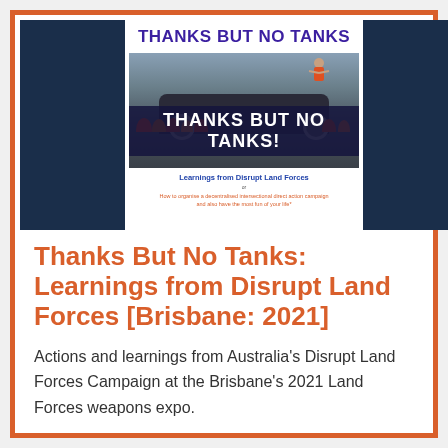[Figure (illustration): Cover of a document titled 'THANKS BUT NO TANKS' with a photo of protesters holding a banner reading 'THANKS BUT NO TANKS!' in front of a dark vehicle. Subtitle reads 'Learnings from Disrupt Land Forces' and 'How to organise a decentralised intersectional direct action campaign and also have the most fun of your life*'. The cover has dark navy blue panels on both sides.]
Thanks But No Tanks: Learnings from Disrupt Land Forces [Brisbane: 2021]
Actions and learnings from Australia's Disrupt Land Forces Campaign at the Brisbane's 2021 Land Forces weapons expo.